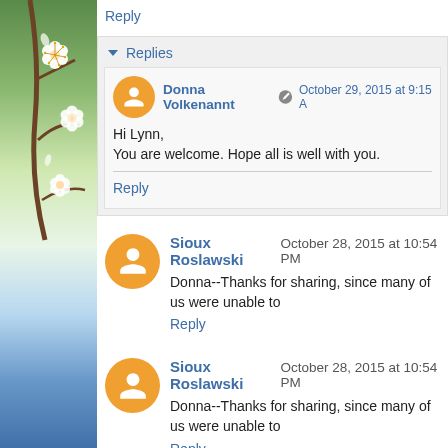[Figure (photo): Left sidebar with photo of white cherry blossoms against blue sky background]
Reply
Replies
Donna Volkenannt  October 29, 2015 at 9:15 A...
Hi Lynn,
You are welcome. Hope all is well with you.
Reply
Sioux Roslawski  October 28, 2015 at 10:54 PM
Donna--Thanks for sharing, since many of us were unable to...
Reply
Sioux Roslawski  October 28, 2015 at 10:54 PM
Donna--Thanks for sharing, since many of us were unable to...
Reply
Replies
Donna Volkenannt  October 29, 2015 at 9:15...